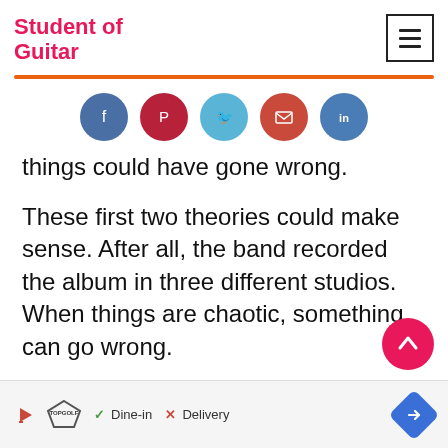Student of Guitar
[Figure (infographic): Row of five social share buttons: Facebook (blue), Pinterest (dark red), Twitter (light blue), Email (red-orange), LinkedIn (blue)]
things could have gone wrong.
These first two theories could make sense. After all, the band recorded the album in three different studios. When things are chaotic, something can go wrong.
[Figure (infographic): Scroll-to-top button: pink circle with upward arrow]
Dine-in X Delivery (TopGolf advertisement bar)